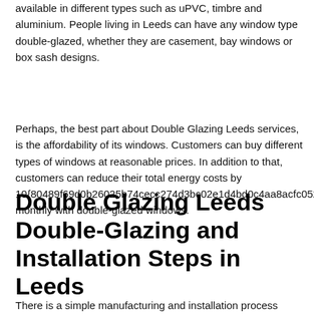available in different types such as uPVC, timbre and aluminium. People living in Leeds can have any window type double-glazed, whether they are casement, bay windows or box sash designs.
Perhaps, the best part about Double Glazing Leeds services, is the affordability of its windows. Customers can buy different types of windows at reasonable prices. In addition to that, customers can reduce their total energy costs by 10{80489f69d0b26025b74cecc274d3bc02e1d4bd0c4aa8acfc0527 monthly with double-glazed windows.
Double Glazing Leeds Double-Glazing and Installation Steps in Leeds
There is a simple manufacturing and installation process Double